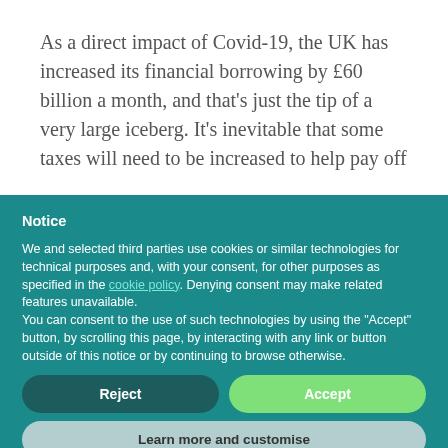As a direct impact of Covid-19, the UK has increased its financial borrowing by £60 billion a month, and that's just the tip of a very large iceberg. It's inevitable that some taxes will need to be increased to help pay off
Notice
We and selected third parties use cookies or similar technologies for technical purposes and, with your consent, for other purposes as specified in the cookie policy. Denying consent may make related features unavailable.
You can consent to the use of such technologies by using the "Accept" button, by scrolling this page, by interacting with any link or button outside of this notice or by continuing to browse otherwise.
Reject
Accept
Learn more and customise